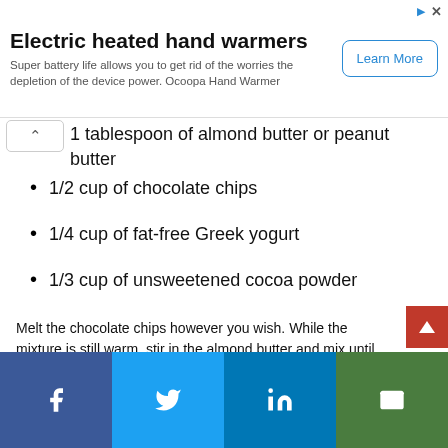[Figure (other): Advertisement banner for Electric heated hand warmers by Ocoopa with a Learn More button]
1 tablespoon of almond butter or peanut butter
1/2 cup of chocolate chips
1/4 cup of fat-free Greek yogurt
1/3 cup of unsweetened cocoa powder
Melt the chocolate chips however you wish. While the mixture is still warm, stir in the almond butter and mix until combined. Then, add in the Greek yogurt by folding, and mix well. Refrigerate for about 15 minutes until it starts hardening, and then start forming the truffles. Finally, roll your truffles in the unsweetened cocoa powder and refrigerate.
[Figure (other): Social share bar with Facebook, Twitter, LinkedIn, and Email buttons]